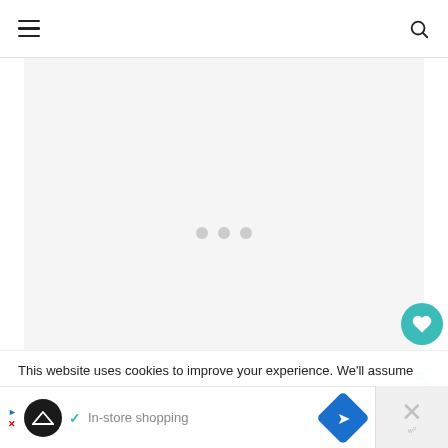≡  [search icon]
[Figure (screenshot): Light gray placeholder content area with three loading dots in the center]
[Figure (other): Teal circular heart/save button on the right side]
[Figure (other): White circular share button with share icon on the right side]
[Figure (other): What's Next panel showing Triple Berry Puff Pastry... with thumbnail]
This website uses cookies to improve your experience. We'll assume
[Figure (other): Advertisement bar at the bottom: In-store shopping with logos and close button]